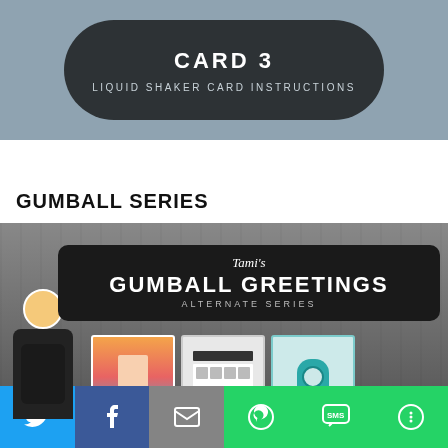CARD 3
LIQUID SHAKER CARD INSTRUCTIONS
GUMBALL SERIES
[Figure (photo): Tami's Gumball Greetings Alternate Series banner image showing crafting cards, stamp sets, and a teal gumball machine card, with an illustrated female avatar on the left]
[Figure (infographic): Social sharing bar with Twitter, Facebook, Email, WhatsApp, SMS, and More icons]